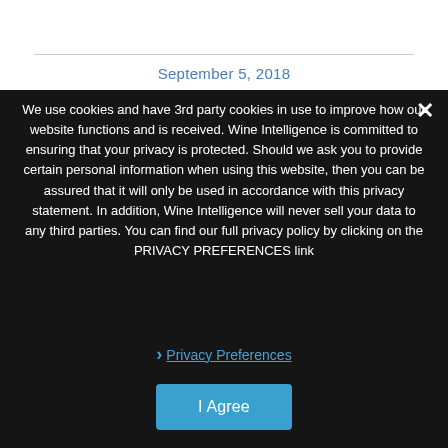September 5, 2018
We use cookies and have 3rd party cookies in use to improve how our website functions and is received. Wine Intelligence is committed to ensuring that your privacy is protected. Should we ask you to provide certain personal information when using this website, then you can be assured that it will only be used in accordance with this privacy statement. In addition, Wine Intelligence will never sell your data to any third parties. You can find our full privacy policy by clicking on the PRIVACY PREFERENCES link
› Privacy Preferences
I Agree